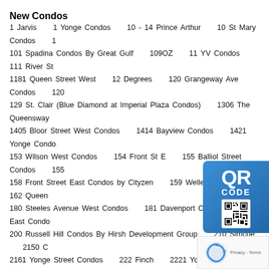New Condos
1 Jarvis    1 Yonge Condos    10 - 14 Prince Arthur    10 St Mary Condos    1 101 Spadina Condos By Great Gulf    109OZ    11 YV Condos    111 River St 1181 Queen Street West    12 Degrees    120 Grangeway Ave Condos    120 129 St. Clair (Blue Diamond at Imperial Plaza Condos)    1306 The Queensway 1405 Bloor Street West Condos    1414 Bayview Condos    1421 Yonge Condo 153 Wilson West Condos    154 Front St E    155 Balliol Street Condos    155 158 Front Street East Condos by Cityzen    159 Wellesley Street    162 Queen 180 Steeles Avenue West Condos    181 Davenport Condos    181 East Condo 200 Russell Hill Condos By Hirsh Development Group    210 Simcoe    2150 C 2161 Yonge Street Condos    222 Finch    2221 Yonge Condos    2 2452 bloor street west condos    250 Lawrence Condos    252 Chu 27 Yorkville Condos    277 Davenport    28 Eastern Condos    283 300 Danforth Road Condos    300 Front Street West    3005 bloor s 321 Davenport Condos    33 Bay at Pinnacle Centre    330 Richmo 3471 LAKE SHORE CONDOS IN ETOBICOKE    3471 Sheppard Av 365 Church    383 Sorauren Condos    4 The Kingsway    400 King West Con 419 College Street Condos    420 Lakeshore Road East Condos    440 Dufferin 457 Richmond Street West    46 Park Street East Condos    470 Wilson Condo 50 at Wellesley Station Condos    50 Scollard Condos    500 Well 53 Sheppard west condos    530 St Clair Ave West    543 Richmo 571 Prince Edward Condos    5959 Yonge St Condos    6 Dawes 609 Sherbourne St.    63 MONTCLAIR AVENUE CONDOS    64 Prince Arthur
[Figure (other): QR Code overlay in blue with 'QR CODE' text and QR code image]
[Figure (other): reCAPTCHA widget overlay at bottom right]